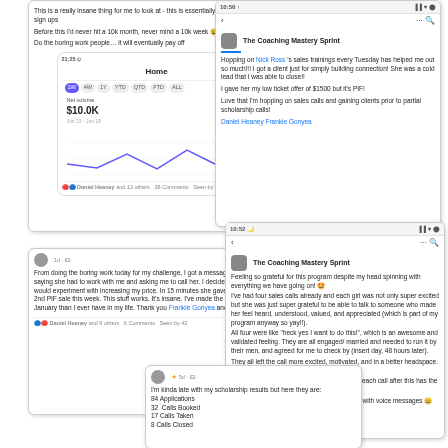[Figure (screenshot): Facebook post with Stripe dashboard showing $10.0K net volume, with text about scholarship sign ups and 10k month/week. Line chart visible. Daniel Heaney and 12 others reacted. 38 Comments. Seen by 42.]
[Figure (screenshot): Facebook group post in The Coaching Mastery Sprint: Nick Ross sales trainings every Tuesday helped. Got a client just for building connection. Cold lead, $1500 low ticket offer PIF. Daniel Heaney Frankie Gonyea tagged.]
[Figure (screenshot): Facebook post: From doing the boring work today for my challenge, got a message from a woman saying she had to work with me. 2nd PIF sale this week. Made most money in January. Thank you Frankie Gonyea and Daniel Heaney! Daniel Heaney and 9 others. 6 Comments. Seen by 42.]
[Figure (screenshot): The Coaching Mastery Sprint Facebook group post at 10:52. Feeling grateful for the program. Had 4 sales calls, girls grateful, wanted to work together. All engaged/married needed to check with partners. Left calls excited and motivated. Thank you Frankie for letting me blow you up with voice messages.]
[Figure (screenshot): Facebook post 5d ago: I'm kinda late with my scholarship results but here they are: 84 Applications, 32 Calls Booked, 17 Calls Taken, 8 Calls Closed (partially cut off).]